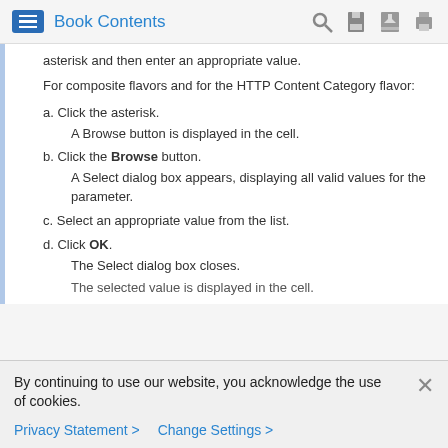Book Contents
asterisk and then enter an appropriate value.
For composite flavors and for the HTTP Content Category flavor:
a. Click the asterisk.
    A Browse button is displayed in the cell.
b. Click the Browse button.
    A Select dialog box appears, displaying all valid values for the parameter.
c. Select an appropriate value from the list.
d. Click OK.
    The Select dialog box closes.
    The selected value is displayed in the cell.
By continuing to use our website, you acknowledge the use of cookies.
Privacy Statement > Change Settings >